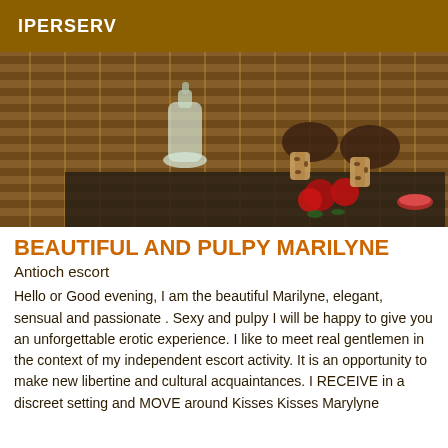IPERSERV
[Figure (photo): Close-up photo showing feet wearing leopard-print high heels on a wooden slatted floor, with a glass bottle and red roses in the foreground.]
BEAUTIFUL AND PULPY MARILYNE
Antioch escort
Hello or Good evening, I am the beautiful Marilyne, elegant, sensual and passionate . Sexy and pulpy I will be happy to give you an unforgettable erotic experience. I like to meet real gentlemen in the context of my independent escort activity. It is an opportunity to make new libertine and cultural acquaintances. I RECEIVE in a discreet setting and MOVE around Kisses Kisses Marylyne